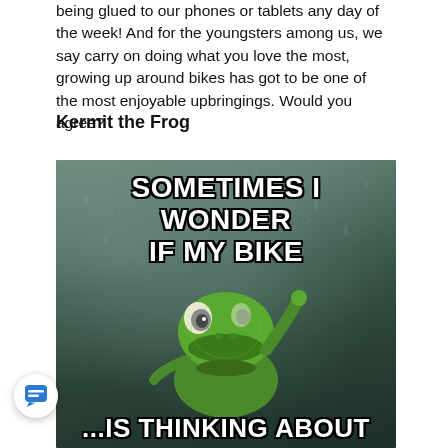being glued to our phones or tablets any day of the week! And for the youngsters among us, we say carry on doing what you love the most, growing up around bikes has got to be one of the most enjoyable upbringings. Would you agree?
Kermit the Frog
[Figure (photo): Kermit the Frog meme image with text 'SOMETIMES I WONDER IF MY BIKE ...IS THINKING ABOUT']